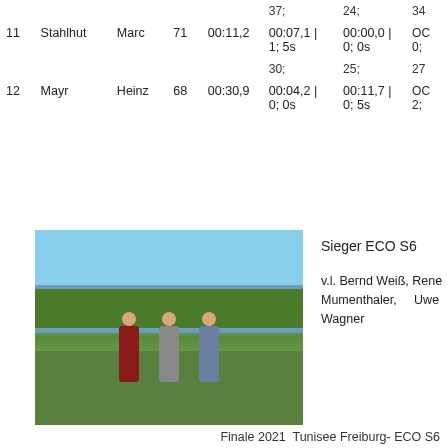|  |  |  |  |  | 37; | 24; | 34 |
| --- | --- | --- | --- | --- | --- | --- | --- |
| 11 | Stahlhut | Marc | 71 | 00:11,2 | 00:07,1 | 1; 5s | 00:00,0 | 0; 0s | OC 0; |
| 12 | Mayr | Heinz | 68 | 00:30,9 | 30; 00:04,2 | 0; 0s | 25; 00:11,7 | 0; 5s | 27 OC 2; |
[Figure (photo): Three men standing outdoors near a lake holding trophies and certificates, trees and blue sky in background]
Sieger ECO S6
v.l. Bernd Weiß, Rene Mumenthaler, Uwe Wagner
Finale 2021 Tunisee Freiburg- ECO S6